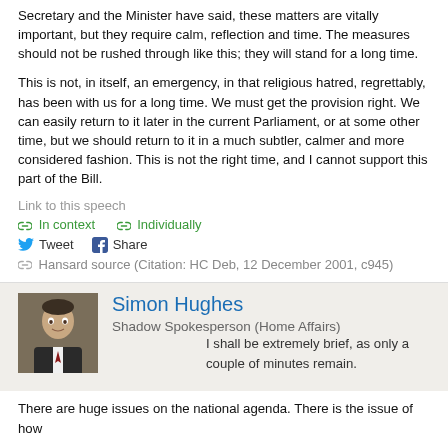Secretary and the Minister have said, these matters are vitally important, but they require calm, reflection and time. The measures should not be rushed through like this; they will stand for a long time.
This is not, in itself, an emergency, in that religious hatred, regrettably, has been with us for a long time. We must get the provision right. We can easily return to it later in the current Parliament, or at some other time, but we should return to it in a much subtler, calmer and more considered fashion. This is not the right time, and I cannot support this part of the Bill.
Link to this speech
In context   Individually
Tweet   Share
Hansard source (Citation: HC Deb, 12 December 2001, c945)
[Figure (photo): Portrait photo of Simon Hughes]
Simon Hughes
Shadow Spokesperson (Home Affairs)
I shall be extremely brief, as only a couple of minutes remain.
There are huge issues on the national agenda. There is the issue of how